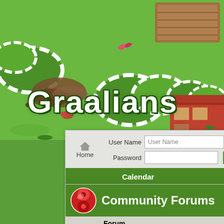[Figure (screenshot): Graalians game background illustration with green landscape, tents with green and white striped pattern, wooden structures, and game art style environment]
Graalians
[Figure (screenshot): Website login panel with User Name field, Password field, Remember Me checkbox, Log in button, and Home navigation icon. Navigation bar with Calendar, Today's Posts, Search links.]
Community Forums
| Forum | Last Post | Topics | Po... |
| --- | --- | --- | --- |
| Site Information
Check out the | forums.graalonline.com...
by Sir Travis | 295 | 5,5... |